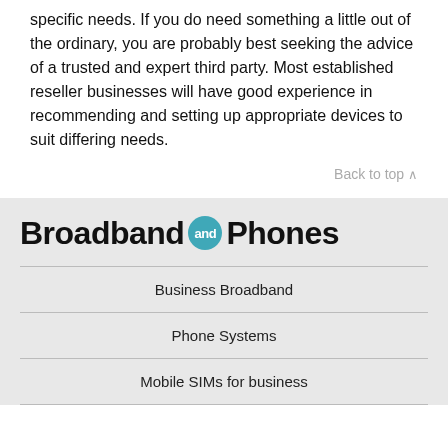specific needs. If you do need something a little out of the ordinary, you are probably best seeking the advice of a trusted and expert third party. Most established reseller businesses will have good experience in recommending and setting up appropriate devices to suit differing needs.
Back to top ∧
[Figure (logo): Broadband and Phones logo with teal circular 'and' badge between bold black text]
Business Broadband
Phone Systems
Mobile SIMs for business